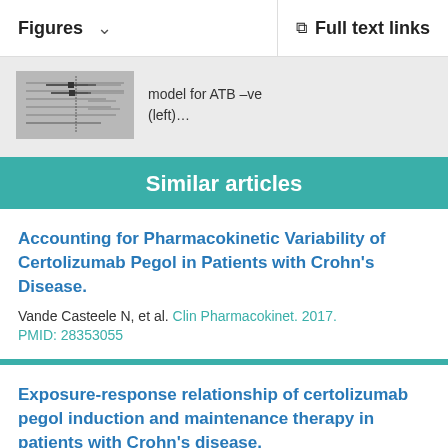Figures  ∨    Full text links
[Figure (other): Thumbnail preview of a figure showing forest plot or similar statistical chart]
model for ATB –ve (left)…
Similar articles
Accounting for Pharmacokinetic Variability of Certolizumab Pegol in Patients with Crohn's Disease.
Vande Casteele N, et al. Clin Pharmacokinet. 2017.
PMID: 28353055
Exposure-response relationship of certolizumab pegol induction and maintenance therapy in patients with Crohn's disease.